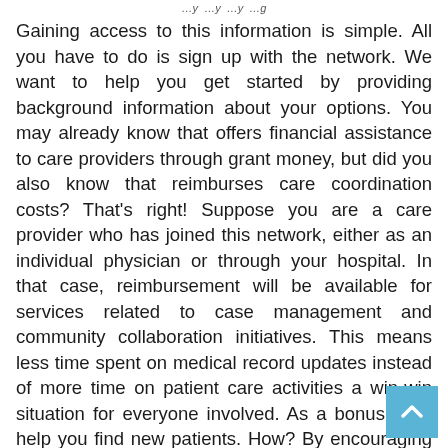…y …y …y …g
Gaining access to this information is simple. All you have to do is sign up with the network. We want to help you get started by providing background information about your options. You may already know that offers financial assistance to care providers through grant money, but did you also know that reimburses care coordination costs? That's right! Suppose you are a care provider who has joined this network, either as an individual physician or through your hospital. In that case, reimbursement will be available for services related to case management and community collaboration initiatives. This means less time spent on medical record updates instead of more time on patient care activities a win-win situation for everyone involved. As a bonus, also help you find new patients. How? By encouraging mutual contracting with hospitals and physicians in the region, helps to connect patients with the best care possible, close to home. And that's